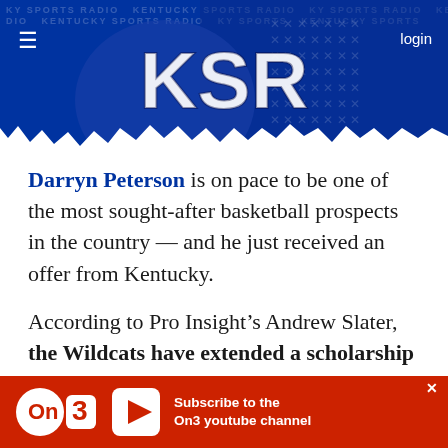[Figure (screenshot): KSR (Kentucky Sports Radio) website header banner with blue background, basketball players, and KSR logo in large letters]
Darryn Peterson is on pace to be one of the most sought-after basketball prospects in the country — and he just received an offer from Kentucky.
According to Pro Insight's Andrew Slater, the Wildcats have extended a scholarship to Peterson, a class of 2025 shooting guard from Cuyahoga Falls, OH. Clocking in at 6-foot-5, 175-pounds, the high school sophomore is the
[Figure (other): On3 advertisement banner: Subscribe to the On3 youtube channel]